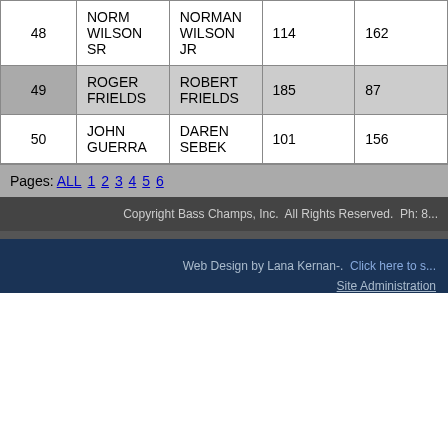| # | Name | Partner | Col1 | Col2 |
| --- | --- | --- | --- | --- |
| 48 | NORM WILSON SR | NORMAN WILSON JR | 114 | 162 |
| 49 | ROGER FRIELDS | ROBERT FRIELDS | 185 | 87 |
| 50 | JOHN GUERRA | DAREN SEBEK | 101 | 156 |
Pages: ALL 1 2 3 4 5 6
Copyright Bass Champs, Inc.  All Rights Reserved.  Ph: 8...
Web Design by Lana Kernan-.  Click here to s...
Site Administration